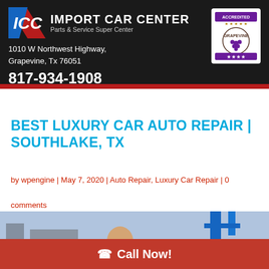IMPORT CAR CENTER
Parts & Service Super Center
1010 W Northwest Highway, Grapevine, Tx 76051
817-934-1908
BEST LUXURY CAR AUTO REPAIR | SOUTHLAKE, TX
by wpengine | May 7, 2020 | Auto Repair, Luxury Car Repair | 0 comments
[Figure (photo): Photo of a mechanic in an auto repair shop with a car lift visible in background]
Call Now!